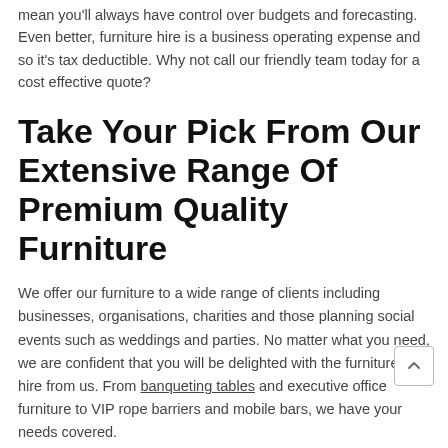mean you'll always have control over budgets and forecasting. Even better, furniture hire is a business operating expense and so it's tax deductible. Why not call our friendly team today for a cost effective quote?
Take Your Pick From Our Extensive Range Of Premium Quality Furniture
We offer our furniture to a wide range of clients including businesses, organisations, charities and those planning social events such as weddings and parties. No matter what you need, we are confident that you will be delighted with the furniture you hire from us. From banqueting tables and executive office furniture to VIP rope barriers and mobile bars, we have your needs covered.
Quick Delivery And